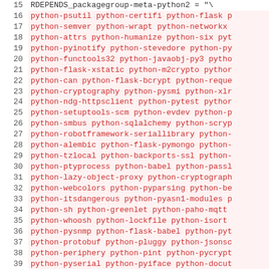Code snippet showing RDEPENDS_packagegroup-meta-python2 variable assignment with a list of python packages, lines 15-44